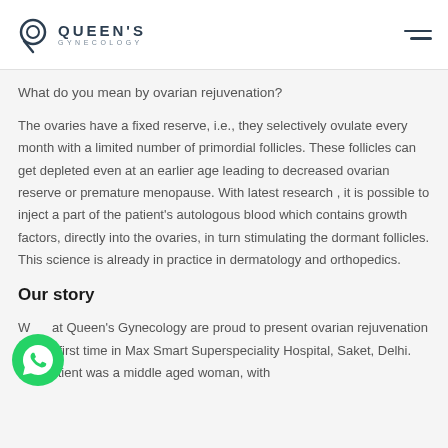QUEEN'S GYNECOLOGY
What do you mean by ovarian rejuvenation?
The ovaries have a fixed reserve, i.e., they selectively ovulate every month with a limited number of primordial follicles. These follicles can get depleted even at an earlier age leading to decreased ovarian reserve or premature menopause. With latest research , it is possible to inject a part of the patient's autologous blood which contains growth factors, directly into the ovaries, in turn stimulating the dormant follicles. This science is already in practice in dermatology and orthopedics.
Our story
We at Queen's Gynecology are proud to present ovarian rejuvenation for the first time in Max Smart Superspeciality Hospital, Saket, Delhi. Our patient was a middle aged woman, with